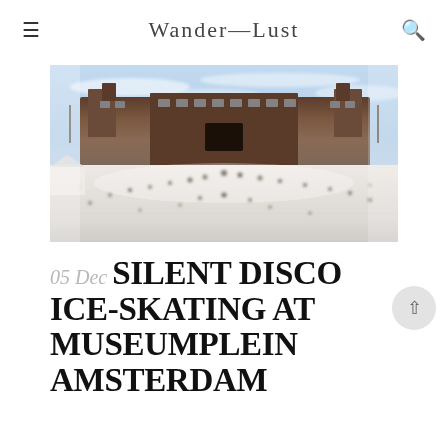Wander-Lust
[Figure (photo): Outdoor ice skating rink in front of the Rijksmuseum (Museumplein) in Amsterdam on a winter day. Crowds of people skate and walk in the foreground; the grand red-brick museum building with turrets is visible behind, under a blue sky with light clouds.]
05 Dec SILENT DISCO ICE-SKATING AT MUSEUMPLEIN AMSTERDAM